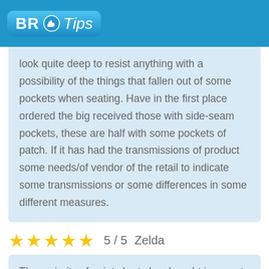BR Tips
look quite deep to resist anything with a possibility of the things that fallen out of some pockets when seating. Have in the first place ordered the big received those with side-seam pockets, these are half with some pockets of patch. If it has had the transmissions of product some needs/of vendor of the retail to indicate some transmissions or some differences in some different measures.
5 / 5  Zelda
The majority of point shorts has bought in a past